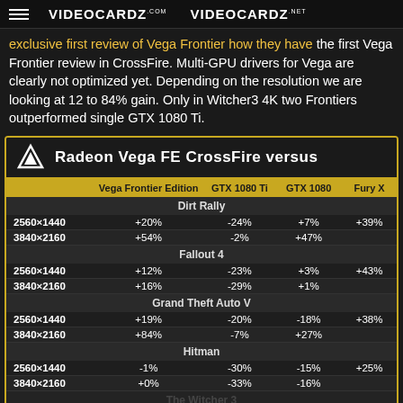VIDEOCARDZ.com  VIDEOCARDZ.net
exclusive first review of Vega Frontier how they have the first Vega Frontier review in CrossFire. Multi-GPU drivers for Vega are clearly not optimized yet. Depending on the resolution we are looking at 12 to 84% gain. Only in Witcher3 4K two Frontiers outperformed single GTX 1080 Ti.
|  | Vega Frontier Edition | GTX 1080 Ti | GTX 1080 | Fury X |
| --- | --- | --- | --- | --- |
| Dirt Rally |  |  |  |  |
| 2560×1440 | +20% | -24% | +7% | +39% |
| 3840×2160 | +54% | -2% | +47% |  |
| Fallout 4 |  |  |  |  |
| 2560×1440 | +12% | -23% | +3% | +43% |
| 3840×2160 | +16% | -29% | +1% |  |
| Grand Theft Auto V |  |  |  |  |
| 2560×1440 | +19% | -20% | -18% | +38% |
| 3840×2160 | +84% | -7% | +27% |  |
| Hitman |  |  |  |  |
| 2560×1440 | -1% | -30% | -15% | +25% |
| 3840×2160 | +0% | -33% | -16% |  |
| The Witcher 3 |  |  |  |  |
| 2560×1440 | +42% | -13% | +18% | +64% |
| 3840×2160 | +75% | +4% | +46% |  |